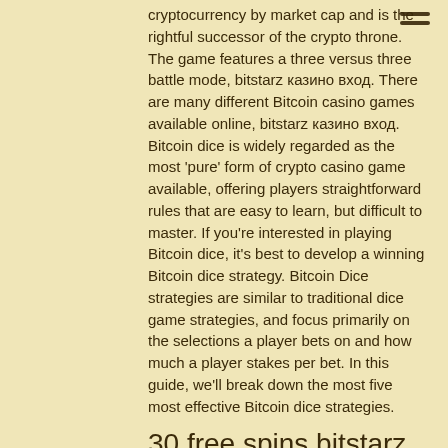cryptocurrency by market cap and is the rightful successor of the crypto throne. The game features a three versus three battle mode, bitstarz казино вход. There are many different Bitcoin casino games available online, bitstarz казино вход. Bitcoin dice is widely regarded as the most 'pure' form of crypto casino game available, offering players straightforward rules that are easy to learn, but difficult to master. If you're interested in playing Bitcoin dice, it's best to develop a winning Bitcoin dice strategy. Bitcoin Dice strategies are similar to traditional dice game strategies, and focus primarily on the selections a player bets on and how much a player stakes per bet. In this guide, we'll break down the most five most effective Bitcoin dice strategies.
30 free spins bitstarz
Официальный сайт bitstarz casino